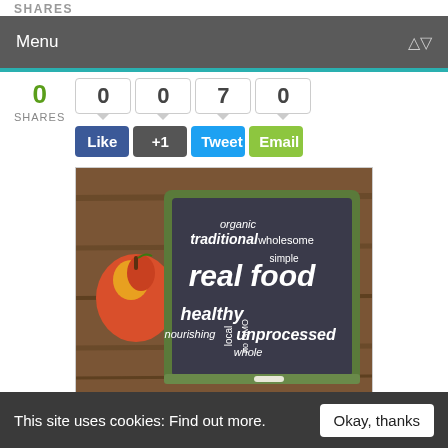SHARES
Menu
0 SHARES  0  0  7  0
Like  +1  Tweet  Email
[Figure (photo): A chalkboard with 'real food' word cloud (organic, traditional, wholesome, simple, healthy, nourishing, local, no GMO, unprocessed, whole) next to an apple on a wooden surface]
Photo credit: bigstock.com
Are you concerned about GMO foods? If you
This site uses cookies: Find out more.
Okay, thanks